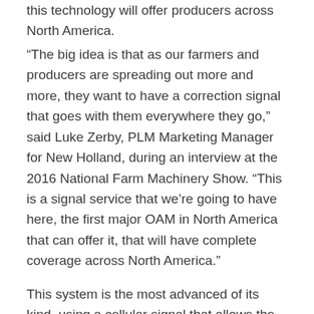this technology will offer producers across North America.
“The big idea is that as our farmers and producers are spreading out more and more, they want to have a correction signal that goes with them everywhere they go,” said Luke Zerby, PLM Marketing Manager for New Holland, during an interview at the 2016 National Farm Machinery Show. “This is a signal service that we’re going to have here, the first major OAM in North America that can offer it, that will have complete coverage across North America.”
This system is the most advanced of its kind, using a cellular signal that allows the signal to be spread much further than traditional radio RTK systems. The signal is available and consistent with sub-inch accuracy anywhere within the network.
Once fully rolled-out, customers will be able receive correction signals from Northern Canada to the